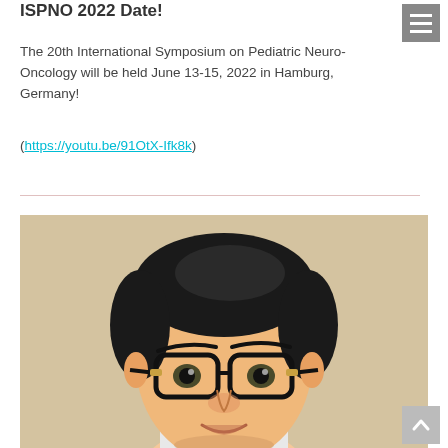ISPNO 2022 Date!
The 20th International Symposium on Pediatric Neuro-Oncology will be held June 13-15, 2022 in Hamburg, Germany!
(https://youtu.be/91OtX-Ifk8k)
[Figure (photo): Headshot portrait of an Asian man with short dark hair, wearing black-framed glasses, smiling slightly, against a warm beige background.]